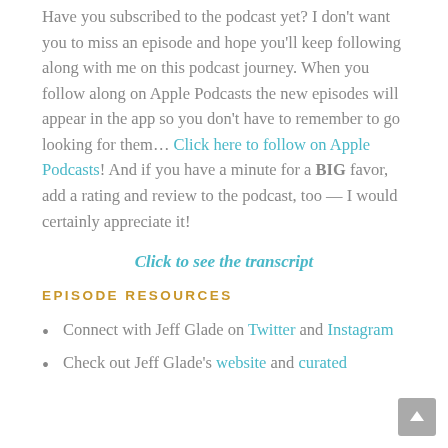Have you subscribed to the podcast yet? I don't want you to miss an episode and hope you'll keep following along with me on this podcast journey. When you follow along on Apple Podcasts the new episodes will appear in the app so you don't have to remember to go looking for them… Click here to follow on Apple Podcasts! And if you have a minute for a BIG favor, add a rating and review to the podcast, too — I would certainly appreciate it!
Click to see the transcript
EPISODE RESOURCES
Connect with Jeff Glade on Twitter and Instagram
Check out Jeff Glade's website and curated